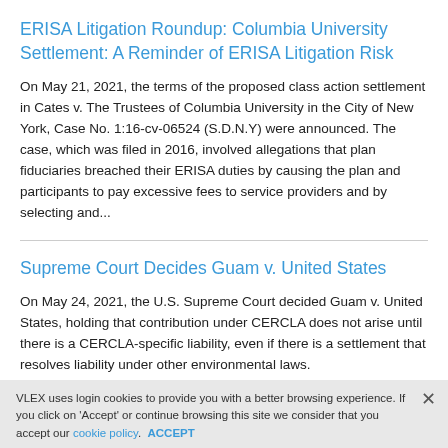ERISA Litigation Roundup: Columbia University Settlement: A Reminder of ERISA Litigation Risk
On May 21, 2021, the terms of the proposed class action settlement in Cates v. The Trustees of Columbia University in the City of New York, Case No. 1:16-cv-06524 (S.D.N.Y) were announced. The case, which was filed in 2016, involved allegations that plan fiduciaries breached their ERISA duties by causing the plan and participants to pay excessive fees to service providers and by selecting and...
Supreme Court Decides Guam v. United States
On May 24, 2021, the U.S. Supreme Court decided Guam v. United States, holding that contribution under CERCLA does not arise until there is a CERCLA-specific liability, even if there is a settlement that resolves liability under other environmental laws.
VLEX uses login cookies to provide you with a better browsing experience. If you click on 'Accept' or continue browsing this site we consider that you accept our cookie policy. ACCEPT